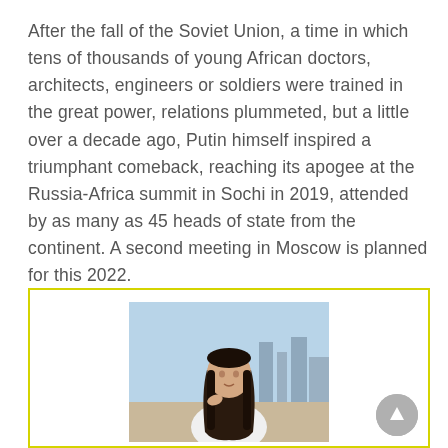After the fall of the Soviet Union, a time in which tens of thousands of young African doctors, architects, engineers or soldiers were trained in the great power, relations plummeted, but a little over a decade ago, Putin himself inspired a triumphant comeback, reaching its apogee at the Russia-Africa summit in Sochi in 2019, attended by as many as 45 heads of state from the continent. A second meeting in Moscow is planned for this 2022.
[Figure (photo): Photo of a young woman with long dark hair wearing a white top, seated outdoors with a city skyline in the background. The photo is inside a yellow-bordered box. A circular gray scroll-to-top button with an upward arrow appears in the bottom-right corner of the box.]